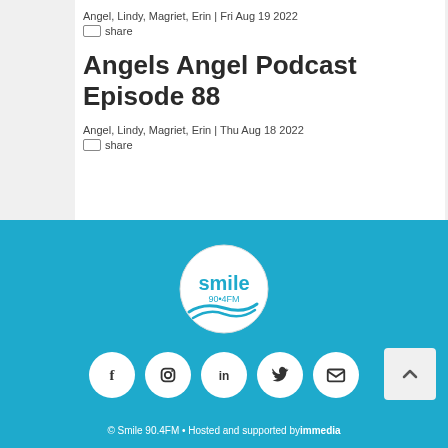Angel, Lindy, Magriet, Erin | Fri Aug 19 2022
share
Angels Angel Podcast Episode 88
Angel, Lindy, Magriet, Erin | Thu Aug 18 2022
share
[Figure (logo): Smile 90.4FM circular logo in white with blue text]
[Figure (infographic): Row of 5 social media icon circles: Facebook, Instagram, LinkedIn, Twitter, Email]
© Smile 90.4FM • Hosted and supported by immedia